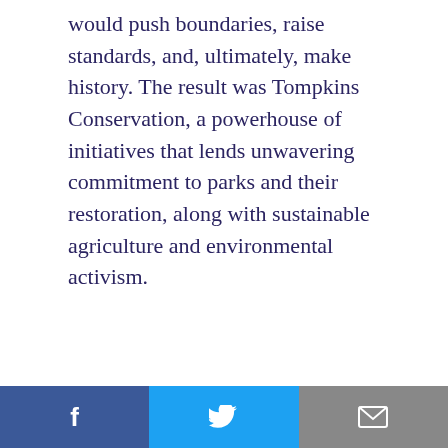would push boundaries, raise standards, and, ultimately, make history. The result was Tompkins Conservation, a powerhouse of initiatives that lends unwavering commitment to parks and their restoration, along with sustainable agriculture and environmental activism.
COMPLETE MEDAL CITATION
Acceptance Speech Video: October 3, 2017 Awards Ceremony
[Figure (screenshot): Video thumbnail with dark background and circular gold logo]
Social sharing bar: Facebook, Twitter, Email